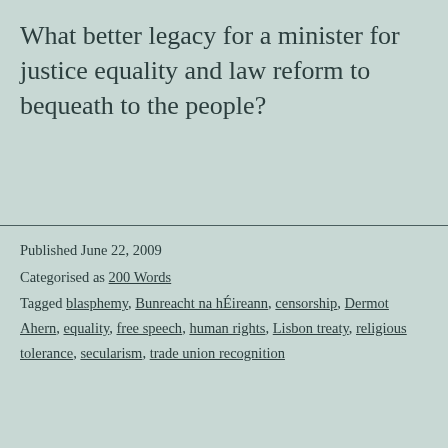What better legacy for a minister for justice equality and law reform to bequeath to the people?
Published June 22, 2009
Categorised as 200 Words
Tagged blasphemy, Bunreacht na hÉireann, censorship, Dermot Ahern, equality, free speech, human rights, Lisbon treaty, religious tolerance, secularism, trade union recognition